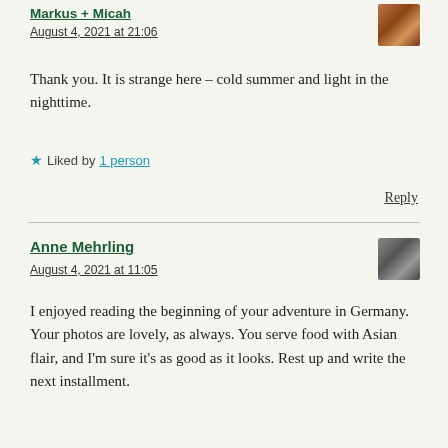Markus + Micah
August 4, 2021 at 21:06
Thank you. It is strange here – cold summer and light in the nighttime.
Liked by 1 person
Reply
Anne Mehrling
August 4, 2021 at 11:05
I enjoyed reading the beginning of your adventure in Germany. Your photos are lovely, as always. You serve food with Asian flair, and I'm sure it's as good as it looks. Rest up and write the next installment.